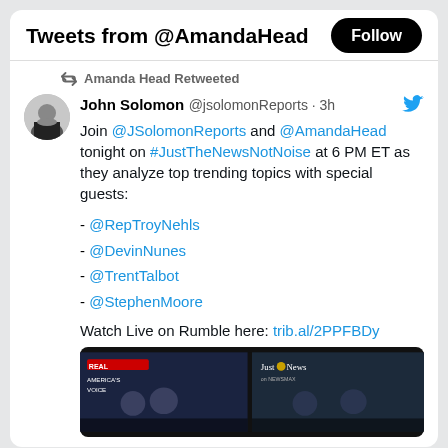Tweets from @AmandaHead
Amanda Head Retweeted
John Solomon @jsolomonReports · 3h
Join @JSolomonReports and @AmandaHead tonight on #JustTheNewsNotNoise at 6 PM ET as they analyze top trending topics with special guests:
- @RepTroyNehls
- @DevinNunes
- @TrentTalbot
- @StephenMoore
Watch Live on Rumble here: trib.al/2PPFBDy
[Figure (screenshot): TV screenshot showing Real America's Voice and Just the News on Monitor panels with anchors visible]